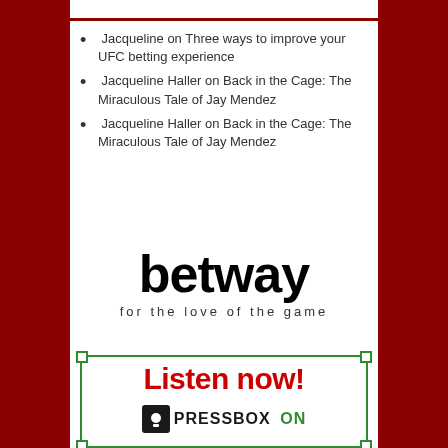Jacqueline on Three ways to improve your UFC betting experience
Jacqueline Haller on Back in the Cage: The Miraculous Tale of Jay Mendez
Jacqueline Haller on Back in the Cage: The Miraculous Tale of Jay Mendez
[Figure (logo): Betway logo with tagline 'for the love of the game']
[Figure (infographic): PressBox 'Listen now!' advertisement banner with green border and corner squares, red Listen now! text, PressBox logo and ON text]